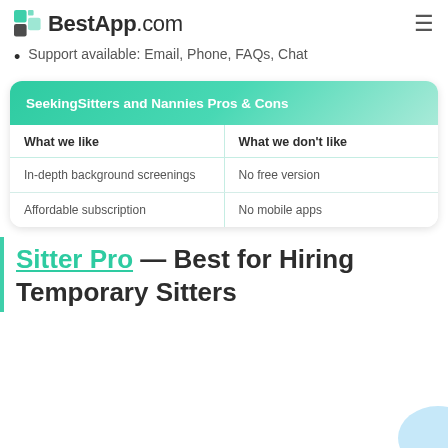BestApp.com
Support available: Email, Phone, FAQs, Chat
| What we like | What we don't like |
| --- | --- |
| In-depth background screenings | No free version |
| Affordable subscription | No mobile apps |
Sitter Pro — Best for Hiring Temporary Sitters